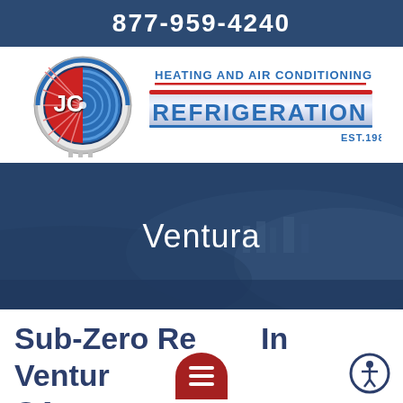877-959-4240
[Figure (logo): JC Refrigeration Heating and Air Conditioning logo, Est. 1988, circular emblem with red and blue fan design]
[Figure (photo): Coastal city scene of Ventura CA with hillside buildings, overlaid with dark blue tint]
Ventura
Sub-Zero Re... In Ventur... CA